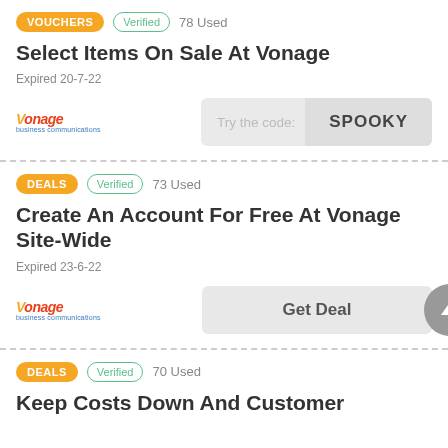VOUCHERS | Verified | 78 Used | Select Items On Sale At Vonage | Expired 20-7-22 | Try the code: SPOOKY
DEALS | Verified | 73 Used | Create An Account For Free At Vonage Site-Wide | Expired 23-6-22 | Get Deal
DEALS | Verified | 70 Used | Keep Costs Down And Customer